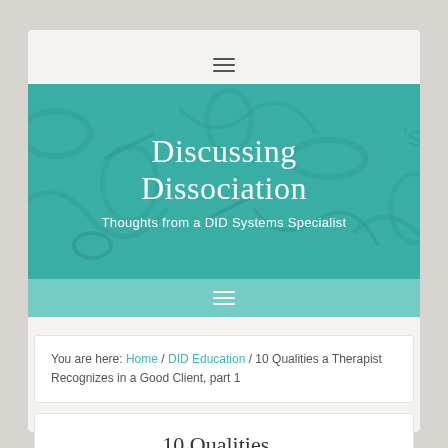☰ (hamburger menu icon)
[Figure (illustration): Discussing Dissociation blog banner with teal/green background showing abstract puzzle piece artwork. Contains site title 'Discussing Dissociation' and subtitle 'Thoughts from a DID Systems Specialist'. A teal navigation bar with hamburger menu icon appears below.]
Discussing Dissociation
Thoughts from a DID Systems Specialist
You are here: Home / DID Education / 10 Qualities a Therapist Recognizes in a Good Client, part 1
10 Qualities...